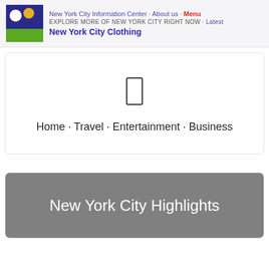New York City Information Center · About us · Menu
EXPLORE MORE OF NEW YORK CITY RIGHT NOW · Latest
New York City Clothing
[Figure (screenshot): Partial view of a card section with navigation bar showing Home · Travel · Entertainment · Business and a rectangle icon]
Home · Travel · Entertainment · Business
[Figure (screenshot): New York City Highlights banner with gray background and white text]